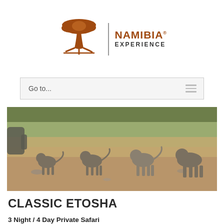[Figure (logo): Namibia Experience logo with acacia tree silhouette and company name]
Go to...
[Figure (photo): Four young lions walking across a dry savanna landscape with dry grass in the background]
CLASSIC ETOSHA
3 Night / 4 Day Private Safari